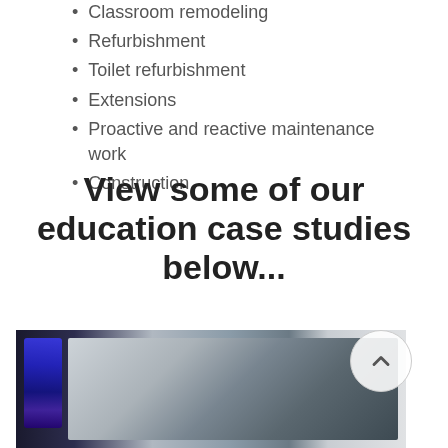Classroom remodeling
Refurbishment
Toilet refurbishment
Extensions
Proactive and reactive maintenance work
Construction
View some of our education case studies below...
[Figure (photo): Interior photo of a school kitchen/canteen showing blue illuminated display panels on the left and commercial kitchen extraction hoods in the background, with a circular scroll-up button overlay]